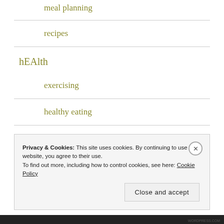meal planning
recipes
hEAlth
exercising
healthy eating
wellbeing
Privacy & Cookies: This site uses cookies. By continuing to use this website, you agree to their use. To find out more, including how to control cookies, see here: Cookie Policy
Close and accept